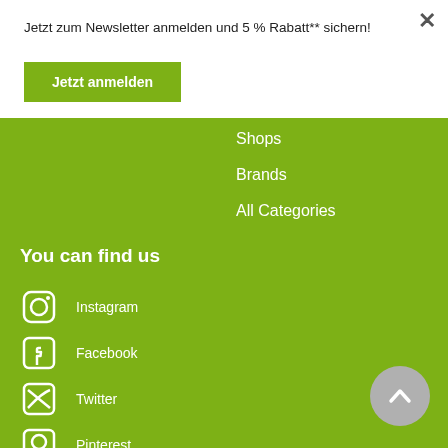Jetzt zum Newsletter anmelden und 5 % Rabatt** sichern!
Jetzt anmelden
Shops
Brands
All Categories
You can find us
Instagram
Facebook
Twitter
Pinterest
Youtube
Newsletter